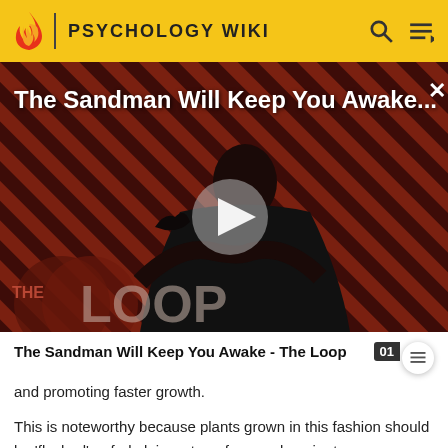PSYCHOLOGY WIKI
[Figure (screenshot): Video thumbnail for 'The Sandman Will Keep You Awake...' on The Loop wiki. Shows a pale figure in a dark cape against a red-and-black diagonal stripe background with a play button and The Loop logo overlay.]
The Sandman Will Keep You Awake - The Loop
and promoting faster growth.
This is noteworthy because plants grown in this fashion should be 'flushed' or fed plain water a few weeks prior to